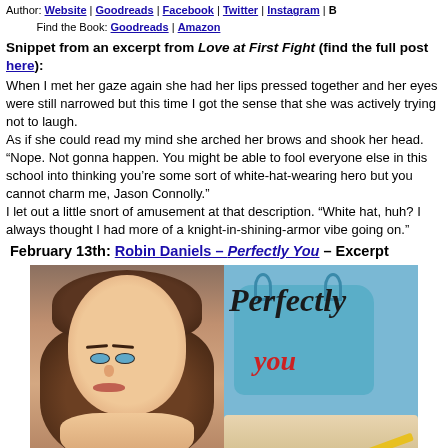Author: Website | Goodreads | Facebook | Twitter | Instagram | B...
Find the Book: Goodreads | Amazon
Snippet from an excerpt from Love at First Fight (find the full post here):
When I met her gaze again she had her lips pressed together and her eyes were still narrowed but this time I got the sense that she was actively trying not to laugh.
As if she could read my mind she arched her brows and shook her head. “Nope. Not gonna happen. You might be able to fool everyone else in this school into thinking you’re some sort of white-hat-wearing hero but you cannot charm me, Jason Connolly.”
I let out a little snort of amusement at that description. “White hat, huh? I always thought I had more of a knight-in-shining-armor vibe going on.”
February 13th: Robin Daniels – Perfectly You – Excerpt
[Figure (photo): Author photo on left half showing a woman with brown hair pulled up, blue eyes; book cover on right half showing a blue tote bag with cursive 'Perfectly you' text and other school/craft items]